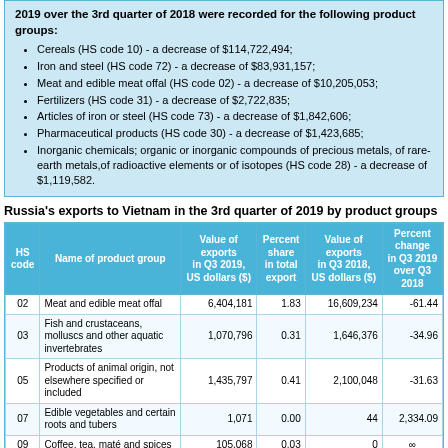2019 over the 3rd quarter of 2018 were recorded for the following product groups:
Cereals (HS code 10) - a decrease of $114,722,494;
Iron and steel (HS code 72) - a decrease of $83,931,157;
Meat and edible meat offal (HS code 02) - a decrease of $10,205,053;
Fertilizers (HS code 31) - a decrease of $2,722,835;
Articles of iron or steel (HS code 73) - a decrease of $1,842,606;
Pharmaceutical products (HS code 30) - a decrease of $1,423,685;
Inorganic chemicals; organic or inorganic compounds of precious metals, of rare-earth metals,of radioactive elements or of isotopes (HS code 28) - a decrease of $1,119,582.
Russia's exports to Vietnam in the 3rd quarter of 2019 by product groups
| HS code | Name of product group | Value of exports in Q3 2019, US dollars ($) | Percent share in total export | Value of exports in Q3 2018, US dollars ($) | Percent change in Q3 2019 over Q3 2018 |
| --- | --- | --- | --- | --- | --- |
| 02 | Meat and edible meat offal | 6,404,181 | 1.83 | 16,609,234 | -61.44 |
| 03 | Fish and crustaceans, molluscs and other aquatic invertebrates | 1,070,796 | 0.31 | 1,646,376 | -34.96 |
| 05 | Products of animal origin, not elsewhere specified or included | 1,435,797 | 0.41 | 2,100,048 | -31.63 |
| 07 | Edible vegetables and certain roots and tubers | 1,071 | 0.00 | 44 | 2,334.09 |
| 09 | Coffee, tea, maté and spices | 105,068 | 0.03 | 0 | ∞ |
| 10 | Cereals | 88,934,153 | 25.37 | 203,656,647 | -56.33 |